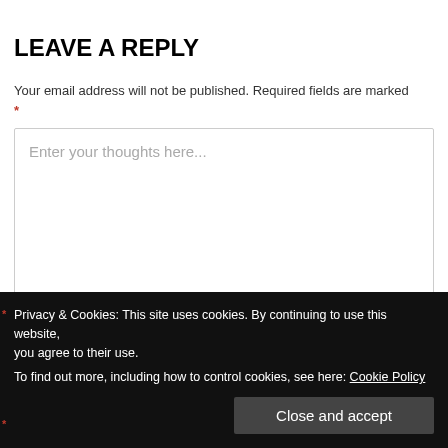LEAVE A REPLY
Your email address will not be published. Required fields are marked *
[Figure (other): Large text input area with placeholder text 'Enter your thoughts here...']
Privacy & Cookies: This site uses cookies. By continuing to use this website, you agree to their use.
To find out more, including how to control cookies, see here: Cookie Policy
Close and accept